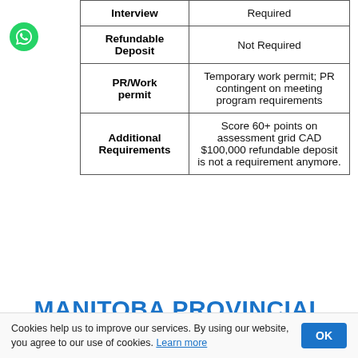|  |  |
| --- | --- |
| Interview | Required |
| Refundable Deposit | Not Required |
| PR/Work permit | Temporary work permit; PR contingent on meeting program requirements |
| Additional Requirements | Score 60+ points on assessment grid CAD $100,000 refundable deposit is not a requirement anymore. |
MANITOBA PROVINCIAL NOMINEE PROGRAM — BUSINESS INVESTOR STREAM (FARM
Cookies help us to improve our services. By using our website, you agree to our use of cookies. Learn more